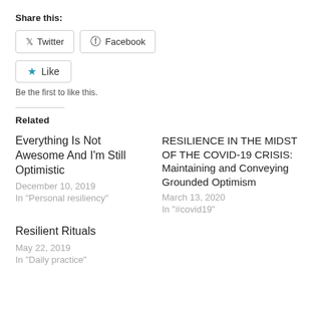Share this:
[Figure (screenshot): Social sharing buttons: Twitter and Facebook]
[Figure (screenshot): Like button with star icon and text 'Be the first to like this.']
Related
Everything Is Not Awesome And I'm Still Optimistic
December 10, 2019
In "Personal resiliency"
RESILIENCE IN THE MIDST OF THE COVID-19 CRISIS: Maintaining and Conveying Grounded Optimism
March 13, 2020
In "#covid19"
Resilient Rituals
May 22, 2019
In "Daily practice"